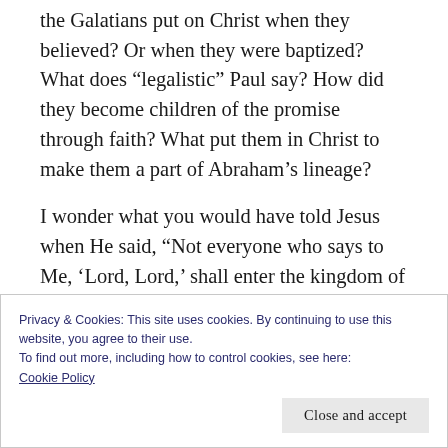the Galatians put on Christ when they believed? Or when they were baptized? What does “legalistic” Paul say? How did they become children of the promise through faith? What put them in Christ to make them a part of Abraham’s lineage?
I wonder what you would have told Jesus when He said, “Not everyone who says to Me, ‘Lord, Lord,’ shall enter the kingdom of heaven, but he who does the will of My Father
Privacy & Cookies: This site uses cookies. By continuing to use this website, you agree to their use.
To find out more, including how to control cookies, see here: Cookie Policy